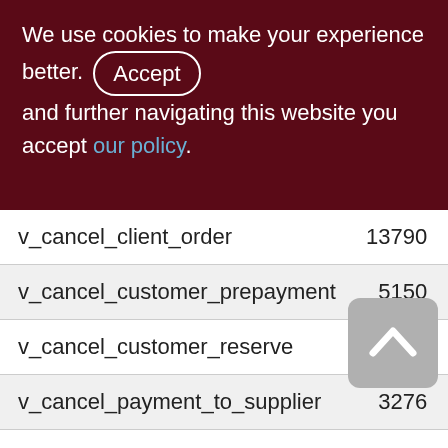We use cookies to make your experience better. By accepting and further navigating this website you accept our policy.
|  |  |  |
| --- | --- | --- |
| v_cancel_client_order | 13790 | 135 |
| v_cancel_customer_prepayment | 5150 | 51 |
| v_cancel_customer_reserve | 5132 | 50 |
| v_cancel_payment_to_supplier | 3276 | 32 |
| v_cancel_supplier_invoice | 3144 | 19 |
| v_cancel_supplier_order | 3274 | 11 |